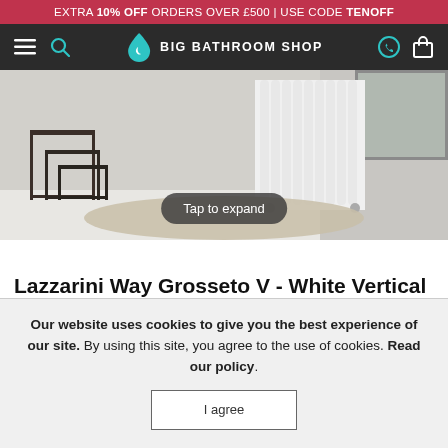EXTRA 10% OFF ORDERS OVER £500 | USE CODE TENOFF
BIG BATHROOM SHOP
[Figure (photo): Product lifestyle photo showing a white vertical column radiator in a modern bathroom setting with a wooden side table and beige rug. Overlaid button reads 'Tap to expand'.]
Lazzarini Way Grosseto V - White Vertical Designer Radiator 1800 x 382
Our website uses cookies to give you the best experience of our site. By using this site, you agree to the use of cookies. Read our policy.
I agree